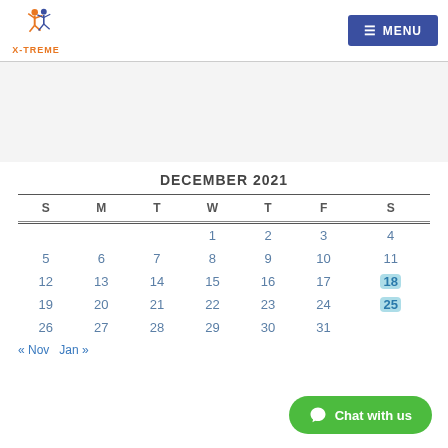X-TREME logo and MENU button
| S | M | T | W | T | F | S |
| --- | --- | --- | --- | --- | --- | --- |
|  |  |  | 1 | 2 | 3 | 4 |
| 5 | 6 | 7 | 8 | 9 | 10 | 11 |
| 12 | 13 | 14 | 15 | 16 | 17 | 18 |
| 19 | 20 | 21 | 22 | 23 | 24 | 25 |
| 26 | 27 | 28 | 29 | 30 | 31 |  |
« Nov   Jan »